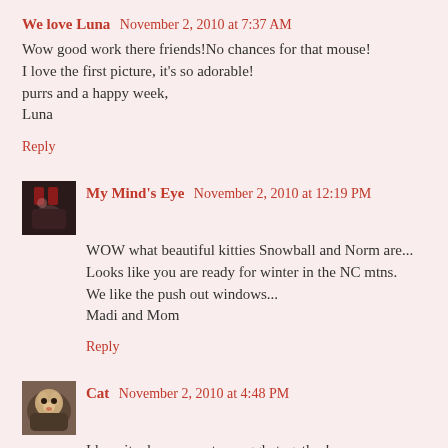We love Luna  November 2, 2010 at 7:37 AM
Wow good work there friends!No chances for that mouse!
I love the first picture, it's so adorable!
purrs and a happy week,
Luna
Reply
[Figure (photo): Small avatar thumbnail showing a dark image, for My Mind's Eye commenter]
My Mind's Eye  November 2, 2010 at 12:19 PM
WOW what beautiful kitties Snowball and Norm are...
Looks like you are ready for winter in the NC mtns.
We like the push out windows...
Madi and Mom
Reply
[Figure (photo): Small avatar thumbnail showing a person with a cat, for Cat commenter]
Cat  November 2, 2010 at 4:48 PM
I love it when mancats snuggle together!
Reply